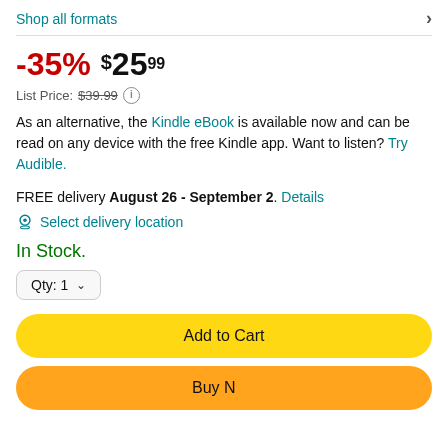Shop all formats
-35%  $25.99
List Price: $39.99
As an alternative, the Kindle eBook is available now and can be read on any device with the free Kindle app. Want to listen? Try Audible.
FREE delivery August 26 - September 2. Details
Select delivery location
In Stock.
Qty: 1
Add to Cart
Buy Now